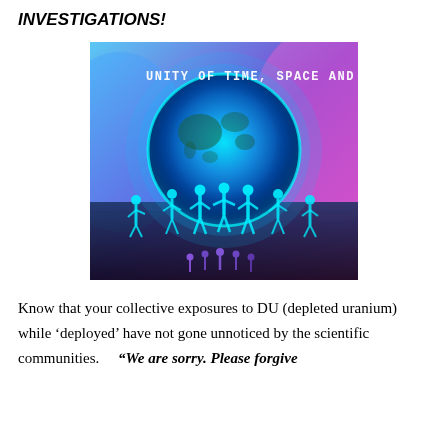INVESTIGATIONS!
[Figure (illustration): Digital illustration showing glowing cyan human figures holding hands in a circle around a large glowing blue Earth globe, against a gradient blue-to-pink/purple background. Text at top reads 'UNITY OF TIME, SPACE AND ACTION' in pixel-style font. Dark landscape at bottom with smaller figures visible.]
Know that your collective exposures to DU (depleted uranium) while ‘deployed’ have not gone unnoticed by the scientific communities.     “We are sorry. Please forgive